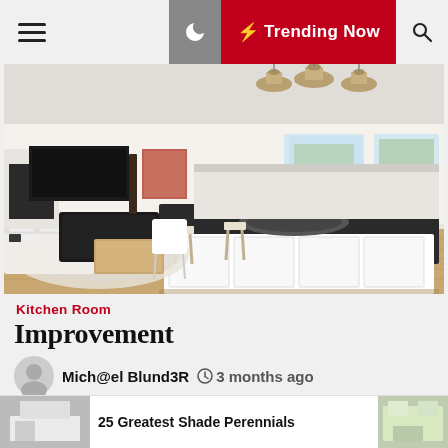≡  🌙  ⚡ Trending Now  🔍
[Figure (photo): Interior photo of a modern open-plan kitchen and living room with dark countertop island, stainless steel sink, pendant lights, white cabinetry, and wooden flooring.]
Kitchen Room
Improvement
Mich@el Blund3R   🕐 3 months ago
Browse earlier than-and-after pictures of a comfy kitchen rework, that includes subway tile, a salvaged farmhouse sink and painted wooden flooring. Long gone are the times when kitchens have been dreary workspaces, hidden behind
25 Greatest Shade Perennials